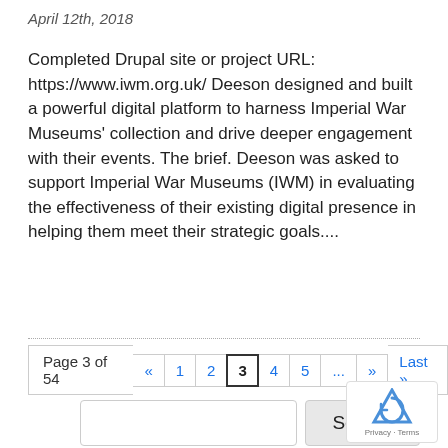April 12th, 2018
Completed Drupal site or project URL: https://www.iwm.org.uk/ Deeson designed and built a powerful digital platform to harness Imperial War Museums' collection and drive deeper engagement with their events. The brief. Deeson was asked to support Imperial War Museums (IWM) in evaluating the effectiveness of their existing digital presence in helping them meet their strategic goals....
Page 3 of 54  «  1  2  3  4  5  ...  »  Last»